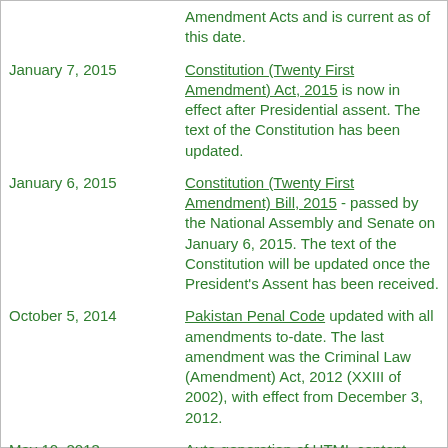[partial top] Amendment Acts and is current as of this date.
January 7, 2015 — Constitution (Twenty First Amendment) Act, 2015 is now in effect after Presidential assent. The text of the Constitution has been updated.
January 6, 2015 — Constitution (Twenty First Amendment) Bill, 2015 - passed by the National Assembly and Senate on January 6, 2015. The text of the Constitution will be updated once the President's Assent has been received.
October 5, 2014 — Pakistan Penal Code updated with all amendments to-date. The last amendment was the Criminal Law (Amendment) Act, 2012 (XXIII of 2002), with effect from December 3, 2012.
May 10, 2013 — Auto-generation of HTML content from XML using XSLT. Improved accuracy and better navigation with footnotes appearing on the same page as the text.
February 8, 2013 — Constitution (Twentieth) Amendment...